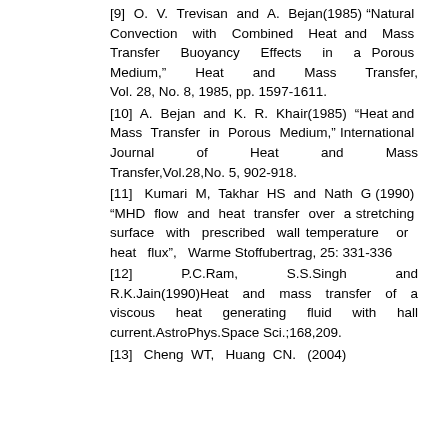[9] O. V. Trevisan and A. Bejan(1985) "Natural Convection with Combined Heat and Mass Transfer Buoyancy Effects in a Porous Medium," Heat and Mass Transfer, Vol. 28, No. 8, 1985, pp. 1597-1611.
[10] A. Bejan and K. R. Khair(1985) "Heat and Mass Transfer in Porous Medium," International Journal of Heat and Mass Transfer,Vol.28,No. 5, 902-918.
[11] Kumari M, Takhar HS and Nath G (1990) "MHD flow and heat transfer over a stretching surface with prescribed wall temperature or heat flux", Warme Stoffubertrag, 25: 331-336
[12] P.C.Ram, S.S.Singh and R.K.Jain(1990)Heat and mass transfer of a viscous heat generating fluid with hall current.AstroPhys.Space Sci.;168,209.
[13] Cheng WT, Huang CN. (2004)